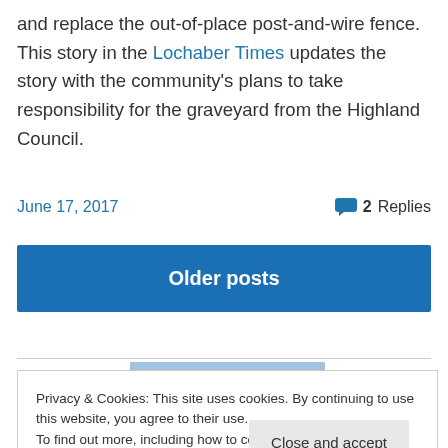and replace the out-of-place post-and-wire fence. This story in the Lochaber Times updates the story with the community's plans to take responsibility for the graveyard from the Highland Council.
June 17, 2017   2 Replies
Older posts
Privacy & Cookies: This site uses cookies. By continuing to use this website, you agree to their use.
To find out more, including how to control cookies, see here: Cookie Policy
Close and accept